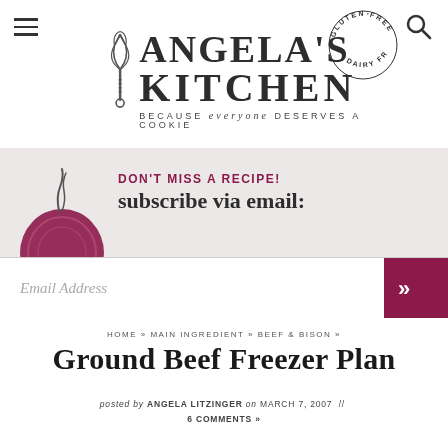[Figure (logo): Angela's Kitchen logo with whisk illustration, 'GLUTEN FREE · DAIRY FREE' circular badge, and tagline 'BECAUSE everyone DESERVES A COOKIE']
[Figure (infographic): Email subscription banner with red onion illustration, 'DON'T MISS A RECIPE!' heading, 'subscribe via email:' subheading, email input field, and dark red submit button with double chevron]
HOME » MAIN INGREDIENT » BEEF & BISON »
Ground Beef Freezer Plan
posted by ANGELA LITZINGER on MARCH 7, 2007 // 6 COMMENTS »